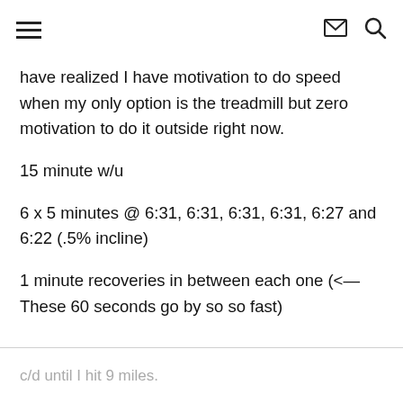≡  ✉  🔍
have realized I have motivation to do speed when my only option is the treadmill but zero motivation to do it outside right now.
15 minute w/u
6 x 5 minutes @ 6:31, 6:31, 6:31, 6:31, 6:27 and 6:22 (.5% incline)
1 minute recoveries in between each one (<— These 60 seconds go by so so fast)
c/d until I hit 9 miles.